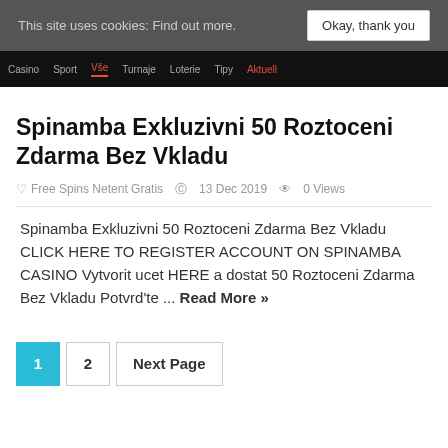This site uses cookies: Find out more.   Okay, thank you
[Figure (screenshot): Dark navigation bar with menu items: Casino, Sport, Vše (active, red underline), Turnaje, Loterie, Tipy, Aktuell (red)]
Spinamba Exkluzivni 50 Roztoceni Zdarma Bez Vkladu
Free Spins Netent Gratis   13 Dec 2019   0 Views
Spinamba Exkluzivni 50 Roztoceni Zdarma Bez Vkladu CLICK HERE TO REGISTER ACCOUNT ON SPINAMBA CASINO Vytvorit ucet HERE a dostat 50 Roztoceni Zdarma Bez Vkladu Potvrd'te ... Read More »
1  2  Next Page